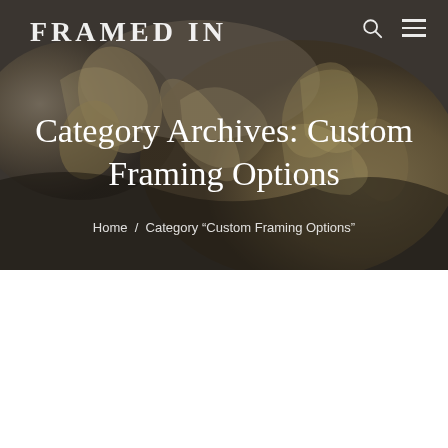[Figure (photo): Close-up photograph of an ornate gold and dark metallic picture frame with decorative carved floral/leaf details, used as a hero banner background]
FRAMED IN
Category Archives: Custom Framing Options
Home / Category "Custom Framing Options"